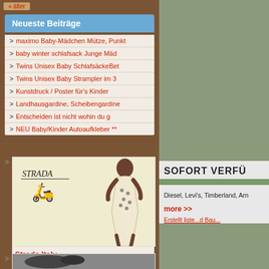« älter
Neueste Beiträge
maximo Baby-Mädchen Mütze, Punkt
baby winter schlafsack Junge Mäd
Twins Unisex Baby SchlafsäckeBet
Twins Unisex Baby Strampler im 3
Kunstdruck / Poster für's Kinder
Landhausgardine, Scheibengardine
Entscheiden ist nicht wohin du g
NEU Baby/Kinder Autoaufkleber **
[Figure (photo): Strada Italy product image showing a woman in a patterned dress and the Strada logo with scooter icon]
Strada Italy
[Figure (photo): Second product image partially visible at bottom]
SOFORT VERFÜ
Diesel, Levi's, Timberland, Arn
more >>
Erstellt liste...d Bau...